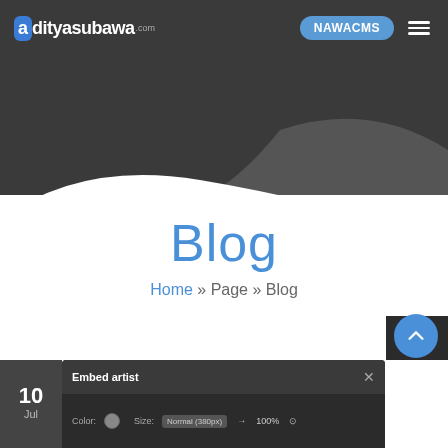adityasubawa.com | NAWACMS
Blog
Home » Page » Blog
[Figure (screenshot): Bottom partial card showing 'Embed artist' dialog with color swatch, Size dropdown set to Normal (380px), and 100%. Date badge showing '10 Jul' on left side. Scroll-up button (chevron) in blue circle on right.]